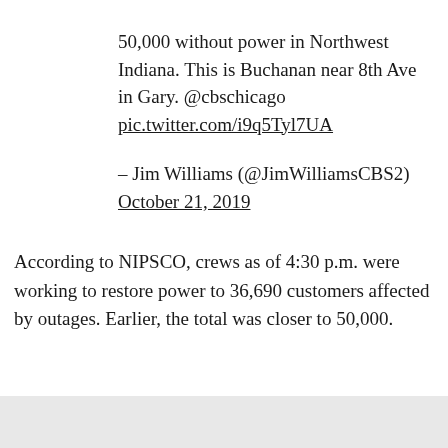50,000 without power in Northwest Indiana. This is Buchanan near 8th Ave in Gary. @cbschicago pic.twitter.com/i9q5Tyl7UA

– Jim Williams (@JimWilliamsCBS2) October 21, 2019
According to NIPSCO, crews as of 4:30 p.m. were working to restore power to 36,690 customers affected by outages. Earlier, the total was closer to 50,000.